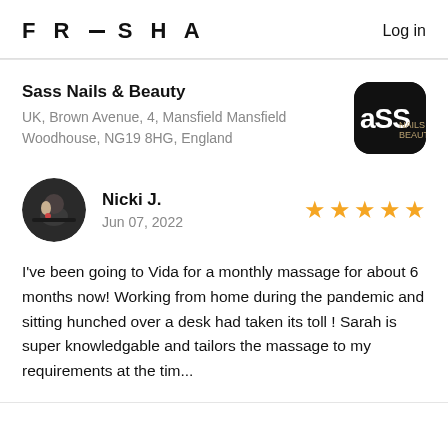FRESHA   Log in
Sass Nails & Beauty
UK, Brown Avenue, 4, Mansfield Mansfield Woodhouse, NG19 8HG, England
[Figure (logo): Sass Nails & Beauty business logo — black rounded rectangle with 'aSS' text in white/gold]
Nicki J.
Jun 07, 2022
[Figure (photo): Circular avatar photo of reviewer Nicki J., dark background with small decorative object]
★★★★★
I've been going to Vida for a monthly massage for about 6 months now! Working from home during the pandemic and sitting hunched over a desk had taken its toll ! Sarah is super knowledgable and tailors the massage to my requirements at the tim...